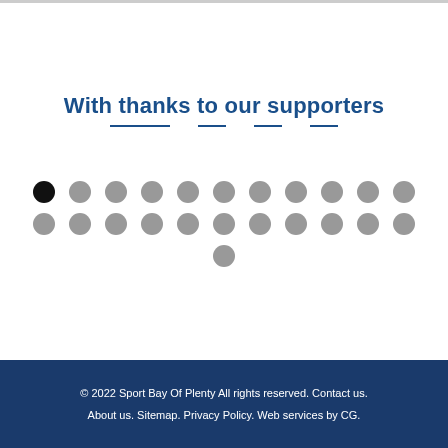With thanks to our supporters
[Figure (other): Two rows of circular dot placeholders (logos/sponsor icons), with one dot in the third row center. First dot in row one is black/filled, others are grey.]
© 2022 Sport Bay Of Plenty All rights reserved. Contact us. About us. Sitemap. Privacy Policy. Web services by CG.